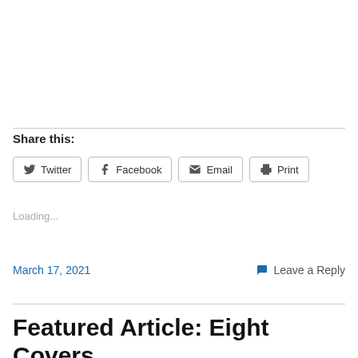Share this:
[Figure (infographic): Social share buttons: Twitter, Facebook, Email, Print]
Loading...
March 17, 2021
💬 Leave a Reply
Featured Article: Eight Covers